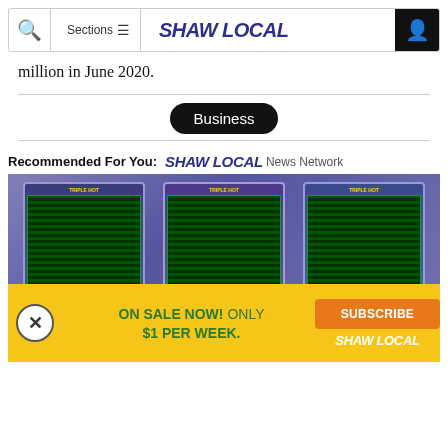Shaw Local | Sections | SHAW LOCAL
million in June 2020.
Business
Recommended For You: SHAW LOCAL News Network
[Figure (photo): Slot machines in a casino with people visible below]
[Figure (infographic): Advertisement overlay: ON SALE NOW! ONLY $1 PER WEEK. with SUBSCRIBE button and SHAW LOCAL logo]